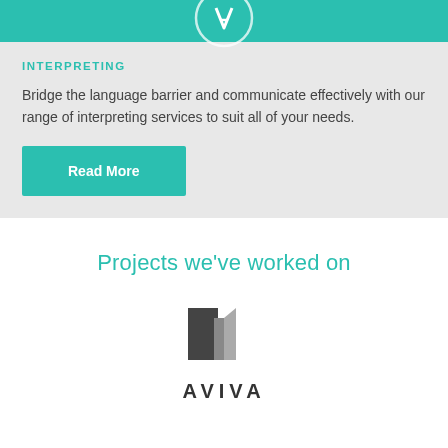[Figure (illustration): Teal banner with a circular icon containing a speech/language symbol (headphones or communication icon)]
INTERPRETING
Bridge the language barrier and communicate effectively with our range of interpreting services to suit all of your needs.
Read More
Projects we've worked on
[Figure (logo): Aviva logo with grey and dark grey geometric square shapes above the text AVIVA]